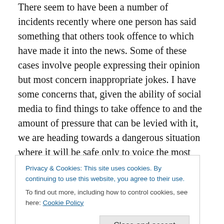There seem to have been a number of incidents recently where one person has said something that others took offence to which have made it into the news. Some of these cases involve people expressing their opinion but most concern inappropriate jokes. I have some concerns that, given the ability of social media to find things to take offence to and the amount of pressure that can be levied with it, we are heading towards a dangerous situation where it will be safe only to voice the most popular opinions or tell the most politically correct jokes.
At times, the apparent need to get offended gets justified
Privacy & Cookies: This site uses cookies. By continuing to use this website, you agree to their use.
To find out more, including how to control cookies, see here: Cookie Policy
that was said on Heart 104.9FM. A complaint was made